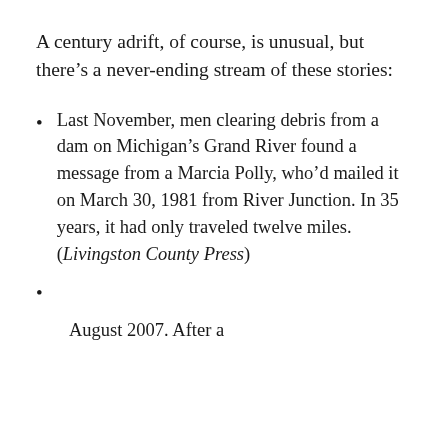A century adrift, of course, is unusual, but there's a never-ending stream of these stories:
Last November, men clearing debris from a dam on Michigan's Grand River found a message from a Marcia Polly, who'd mailed it on March 30, 1981 from River Junction. In 35 years, it had only traveled twelve miles. (Livingston County Press)
August 2007. After a...